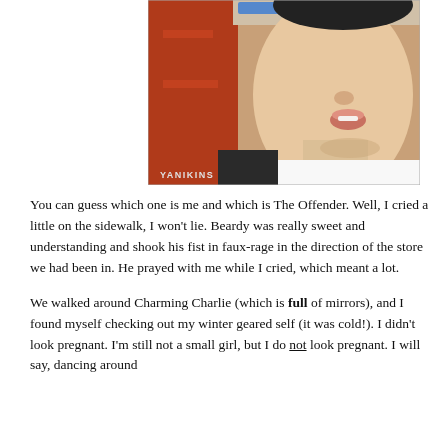[Figure (photo): Close-up photo of a young person in a white shirt, mouth slightly open, with red shelving or background behind them. A watermark reading 'YANIKINS' appears in the lower left of the photo.]
You can guess which one is me and which is The Offender. Well, I cried a little on the sidewalk, I won't lie. Beardy was really sweet and understanding and shook his fist in faux-rage in the direction of the store we had been in. He prayed with me while I cried, which meant a lot.
We walked around Charming Charlie (which is full of mirrors), and I found myself checking out my winter geared self (it was cold!). I didn't look pregnant. I'm still not a small girl, but I do not look pregnant. I will say, dancing around